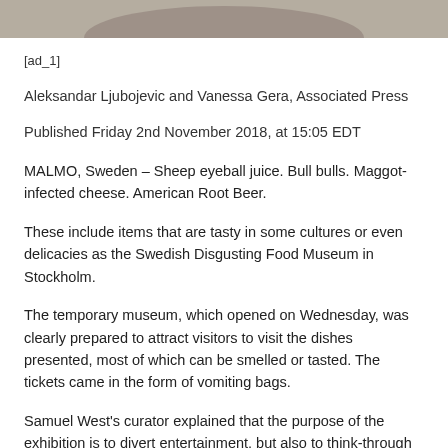[Figure (photo): Partial view of a photo showing food or museum exhibit item against a light background]
[ad_1]
Aleksandar Ljubojevic and Vanessa Gera, Associated Press
Published Friday 2nd November 2018, at 15:05 EDT
MALMO, Sweden – Sheep eyeball juice. Bull bulls. Maggot-infected cheese. American Root Beer.
These include items that are tasty in some cultures or even delicacies as the Swedish Disgusting Food Museum in Stockholm.
The temporary museum, which opened on Wednesday, was clearly prepared to attract visitors to visit the dishes presented, most of which can be smelled or tasted. The tickets came in the form of vomiting bags.
Samuel West's curator explained that the purpose of the exhibition is to divert entertainment, but also to think-through messages: they learn and change things that are considered appalling or repulsive. It hopes